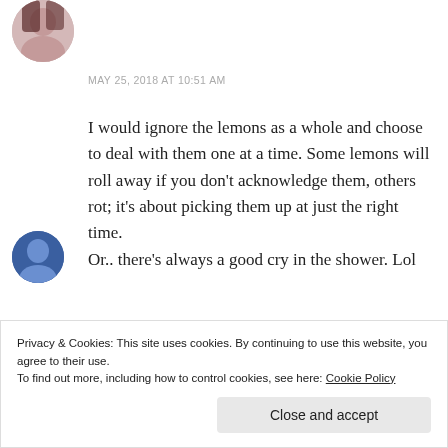[Figure (photo): Circular avatar image of a person with long dark hair]
MAY 25, 2018 AT 10:51 AM
I would ignore the lemons as a whole and choose to deal with them one at a time. Some lemons will roll away if you don't acknowledge them, others rot; it's about picking them up at just the right time.
Or.. there's always a good cry in the shower. Lol
★ Liked by 2 people
Privacy & Cookies: This site uses cookies. By continuing to use this website, you agree to their use.
To find out more, including how to control cookies, see here: Cookie Policy
Close and accept
[Figure (photo): Circular avatar image partially visible at bottom left]